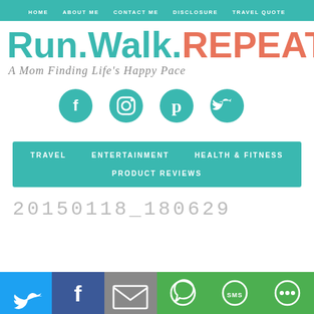HOME   ABOUT ME   CONTACT ME   DISCLOSURE   TRAVEL QUOTE
Run.Walk.REPEAT. A Mom Finding Life's Happy Pace
[Figure (infographic): Row of four teal circular social media icons: Facebook, Instagram, Pinterest, Twitter]
TRAVEL   ENTERTAINMENT   HEALTH & FITNESS   PRODUCT REVIEWS
20150118_180629
[Figure (infographic): Share bar with six colored cells: Twitter (blue), Facebook (dark blue), Email (gray), WhatsApp (green), SMS (green), Other (green), each with a white icon]